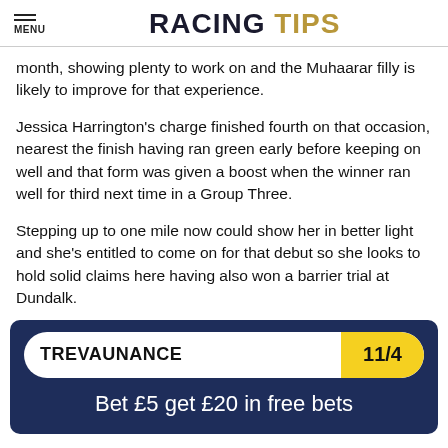RACING TIPS
month, showing plenty to work on and the Muhaarar filly is likely to improve for that experience.
Jessica Harrington's charge finished fourth on that occasion, nearest the finish having ran green early before keeping on well and that form was given a boost when the winner ran well for third next time in a Group Three.
Stepping up to one mile now could show her in better light and she's entitled to come on for that debut so she looks to hold solid claims here having also won a barrier trial at Dundalk.
[Figure (infographic): Promo box with horse name TREVAUNANCE at odds 11/4 and promotional text 'Bet £5 get £20 in free bets']